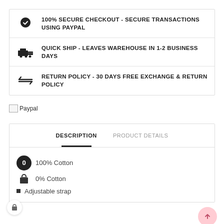100% SECURE CHECKOUT - SECURE TRANSACTIONS USING PAYPAL
QUICK SHIP - LEAVES WAREHOUSE IN 1-2 BUSINESS DAYS
RETURN POLICY - 30 DAYS FREE EXCHANGE & RETURN POLICY
[Figure (logo): Broken image placeholder with text 'Paypal']
DESCRIPTION
PRODUCT DETAILS
100% Cotton
0% Cotton
Adjustable strap